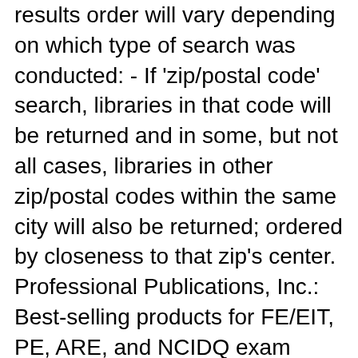results order will vary depending on which type of search was conducted: - If 'zip/postal code' search, libraries in that code will be returned and in some, but not all cases, libraries in other zip/postal codes within the same city will also be returned; ordered by closeness to that zip's center. Professional Publications, Inc.: Best-selling products for FE/EIT, PE, ARE, and NCIDQ exam preparation. Engineers, architects, and interior designers pass the professional licensing exams with our products.
android 2.0 user guide 4.0 4 tablet pc.pdf electronic communication systems by kennedy solution manual pdf.pdf arm instruction set